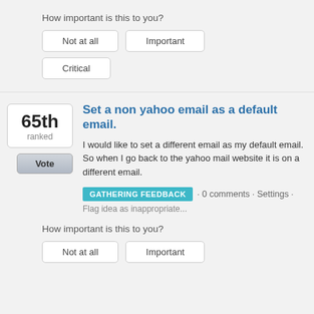How important is this to you?
Not at all
Important
Critical
Set a non yahoo email as a default email.
I would like to set a different email as my default email. So when I go back to the yahoo mail website it is on a different email.
GATHERING FEEDBACK · 0 comments · Settings · Flag idea as inappropriate...
How important is this to you?
Not at all
Important